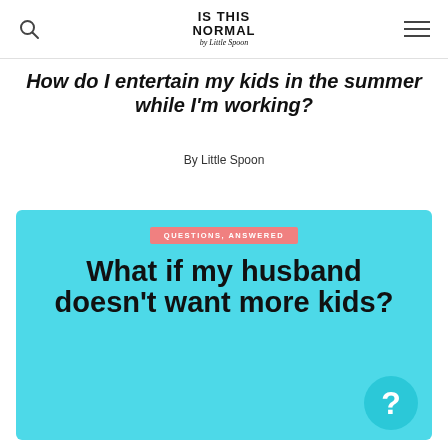IS THIS NORMAL by Little Spoon
How do I entertain my kids in the summer while I'm working?
By Little Spoon
[Figure (illustration): Cyan/turquoise card with a salmon-colored tag reading 'QUESTIONS, ANSWERED', large bold text 'What if my husband doesn't want more kids?' and a teal circle with a question mark in the bottom-right corner.]